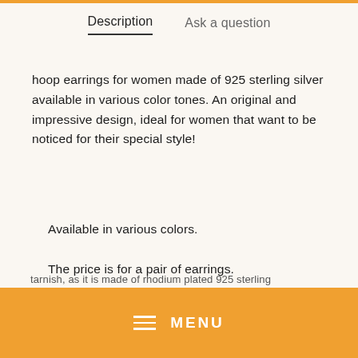Description   Ask a question
hoop earrings for women made of 925 sterling silver available in various color tones. An original and impressive design, ideal for women that want to be noticed for their special style!
Available in various colors.
The price is for a pair of earrings.
⚖ Weight: 3.5g
≡  MENU
tarnish, as it is made of rhodium plated 925 sterling